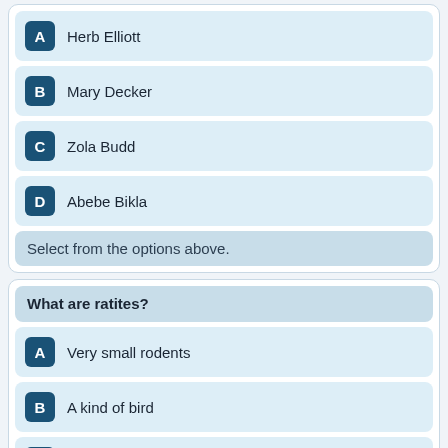A  Herb Elliott
B  Mary Decker
C  Zola Budd
D  Abebe Bikla
Select from the options above.
What are ratites?
A  Very small rodents
B  A kind of bird
C  Grating projections on a sea snail's radula